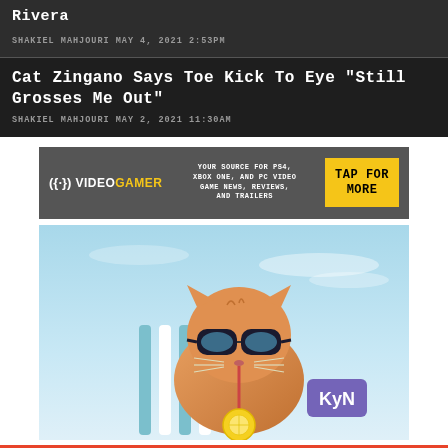Rivera
SHAKIEL MAHJOURI MAY 4, 2021 2:53PM
Cat Zingano Says Toe Kick To Eye "Still Grosses Me Out"
SHAKIEL MAHJOURI MAY 2, 2021 11:30AM
[Figure (other): VideoGamer advertisement banner: logo with controller icon, tagline 'YOUR SOURCE FOR PS4, XBOX ONE, AND PC VIDEO GAME NEWS, REVIEWS, AND TRAILERS', yellow CTA button 'TAP FOR MORE']
[Figure (photo): Orange tabby cat wearing large dark sunglasses, sitting in a beach chair and drinking from a straw with a lemon slice, light blue sky background, KyN logo watermark in lower right]